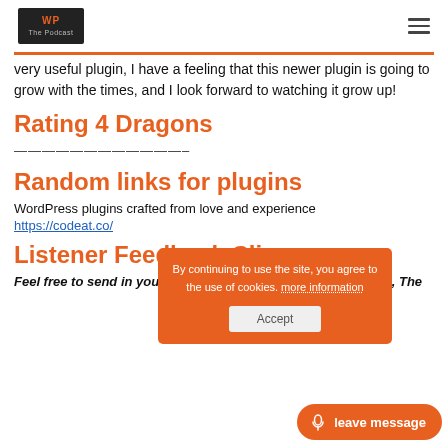WP [logo] | hamburger menu
very useful plugin, I have a feeling that this newer plugin is going to grow with the times, and I look forward to watching it grow up!
Rating 4 Dragons
————————————–
Random links for plugins
WordPress plugins crafted from love and experience
https://codeat.co/
Listener Feedback Clips
Feel free to send in your thoughts to us – The Good, The Bad, The